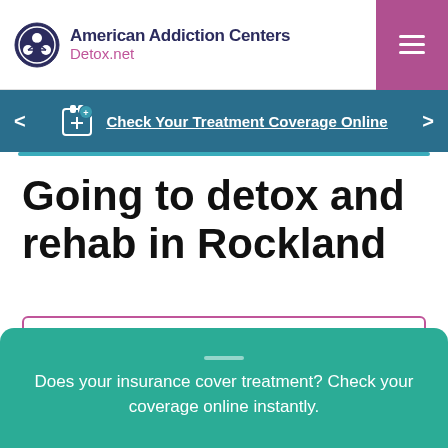American Addiction Centers Detox.net
Check Your Treatment Coverage Online
Going to detox and rehab in Rockland
Available Treatment Types
Available Payment Options
Does your insurance cover treatment? Check your coverage online instantly.